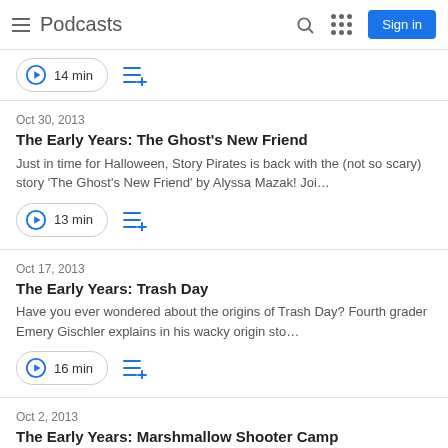Podcasts
14 min
Oct 30, 2013
The Early Years: The Ghost's New Friend
Just in time for Halloween, Story Pirates is back with the (not so scary) story 'The Ghost's New Friend' by Alyssa Mazak! Joi…
13 min
Oct 17, 2013
The Early Years: Trash Day
Have you ever wondered about the origins of Trash Day? Fourth grader Emery Gischler explains in his wacky origin sto…
16 min
Oct 2, 2013
The Early Years: Marshmallow Shooter Camp